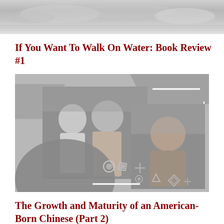[Figure (photo): Top banner image showing a sky or water scene in grayscale]
If You Want To Walk On Water: Book Review #1
[Figure (photo): Composite image with grayscale photos of Asian women, decorative geometric shapes, on a gray background. Left photo shows two women smiling together outdoors. Right photo shows a young woman with glasses smiling outdoors.]
The Growth and Maturity of an American-Born Chinese (Part 2)